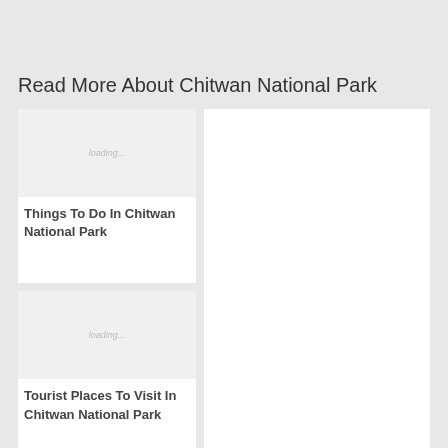Read More About Chitwan National Park
[Figure (photo): Loading image placeholder for Things To Do In Chitwan National Park]
Things To Do In Chitwan National Park
[Figure (photo): Loading image placeholder for Tourist Places To Visit In Chitwan National Park]
Tourist Places To Visit In Chitwan National Park